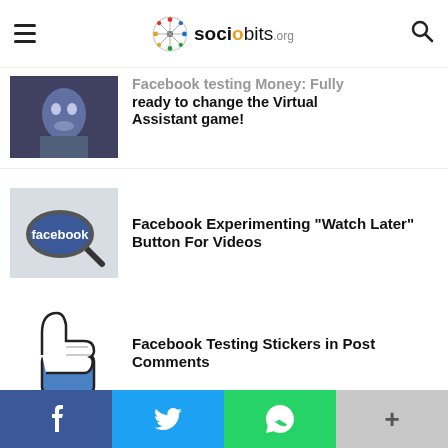sociobits.org
Facebook testing Money: Fully ready to change the Virtual Assistant game!
Facebook Experimenting "Watch Later" Button For Videos
Facebook Testing Stickers in Post Comments